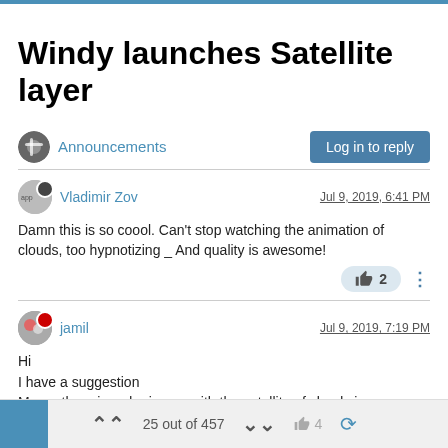Windy launches Satellite layer
Announcements
Log in to reply
Vladimir Zov
Jul 9, 2019, 6:41 PM
Damn this is so coool. Can't stop watching the animation of clouds, too hypnotizing _ And quality is awesome!
2
jamil
Jul 9, 2019, 7:19 PM
Hi
I have a suggestion
Merge the rain radar image with the satellite of clouds in one map
25 out of 457   4